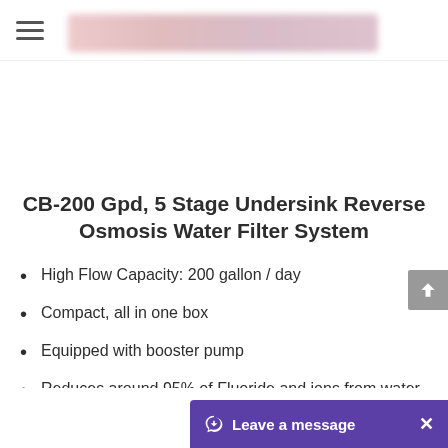Navigation bar with hamburger menu
CB-200 Gpd, 5 Stage Undersink Reverse Osmosis Water Filter System
High Flow Capacity: 200 gallon / day
Compact, all in one box
Equipped with booster pump
Reduces around 95% of Fluoride and ions from water
Ideal for tap, country, bore and brackish water
Removes bad tastes & odors, organics, chlorine
Removes bacteria, viruses, colloids and silt
Produces ultra pure wa…